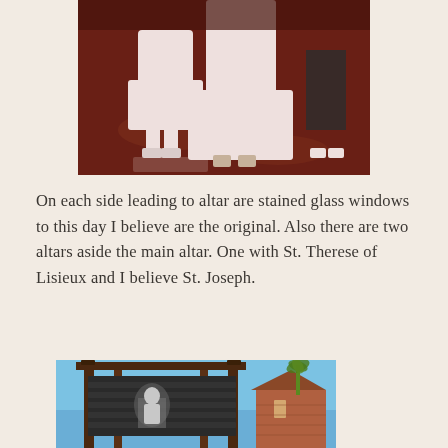[Figure (photo): Vintage indoor photo showing lower halves of people in white dresses/clothing on a dark reddish-brown floor, appearing to be a religious ceremony such as a First Communion]
On each side leading to altar are stained glass windows to this day I believe are the original. Also there are two altars aside the main altar. One with St. Therese of Lisieux and I believe St. Joseph.
[Figure (photo): Outdoor photo showing a church exterior with a dark wooden sign/billboard frame structure in the foreground, blue sky, palm trees, and a brick church building visible in the background]